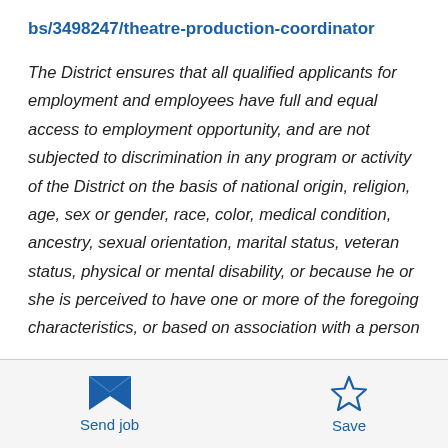bs/3498247/theatre-production-coordinator
The District ensures that all qualified applicants for employment and employees have full and equal access to employment opportunity, and are not subjected to discrimination in any program or activity of the District on the basis of national origin, religion, age, sex or gender, race, color, medical condition, ancestry, sexual orientation, marital status, veteran status, physical or mental disability, or because he or she is perceived to have one or more of the foregoing characteristics, or based on association with a person
Send job  Save